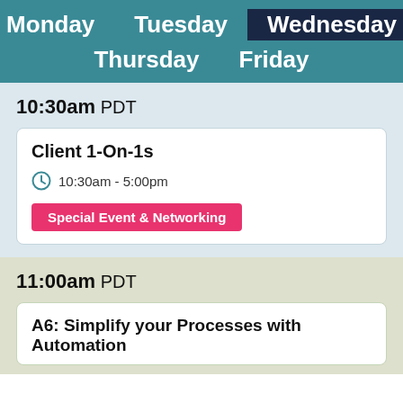Monday  Tuesday  Wednesday  Thursday  Friday
10:30am PDT
Client 1-On-1s
10:30am - 5:00pm
Special Event & Networking
11:00am PDT
A6: Simplify your Processes with Automation